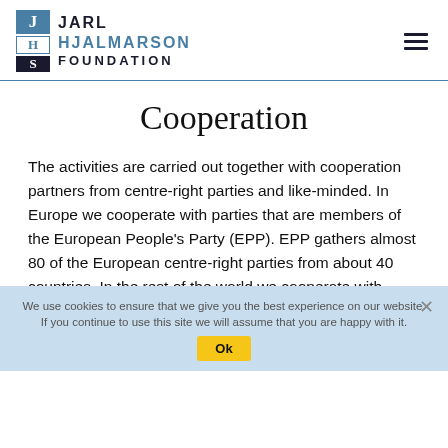Jarl Hjalmarson Foundation
Cooperation
The activities are carried out together with cooperation partners from centre-right parties and like-minded. In Europe we cooperate with parties that are members of the European People's Party (EPP). EPP gathers almost 80 of the European centre-right parties from about 40 countries. In the rest of the world we cooperate with parties that are members of the International Democrat Union (IDU) and its regional organisations. IDU is a global alliance with more than 80 centre-right parties
We use cookies to ensure that we give you the best experience on our website. If you continue to use this site we will assume that you are happy with it.